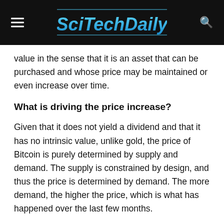SciTechDaily
value in the sense that it is an asset that can be purchased and whose price may be maintained or even increase over time.
What is driving the price increase?
Given that it does not yield a dividend and that it has no intrinsic value, unlike gold, the price of Bitcoin is purely determined by supply and demand. The supply is constrained by design, and thus the price is determined by demand. The more demand, the higher the price, which is what has happened over the last few months.